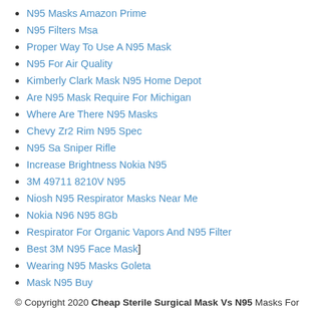N95 Masks Amazon Prime
N95 Filters Msa
Proper Way To Use A N95 Mask
N95 For Air Quality
Kimberly Clark Mask N95 Home Depot
Are N95 Mask Require For Michigan
Where Are There N95 Masks
Chevy Zr2 Rim N95 Spec
N95 Sa Sniper Rifle
Increase Brightness Nokia N95
3M 49711 8210V N95
Niosh N95 Respirator Masks Near Me
Nokia N96 N95 8Gb
Respirator For Organic Vapors And N95 Filter
Best 3M N95 Face Mask]
Wearing N95 Masks Goleta
Mask N95 Buy
© Copyright 2020 Cheap Sterile Surgical Mask Vs N95 Masks For Sale in Discount News.Wordpress
Dust Mask N95 Drawing Kid| Niosh Approved N95 Masks| N95 Mask Nys Emt| N95 Mask Too Big For Kids| N95 Respirator Expiration